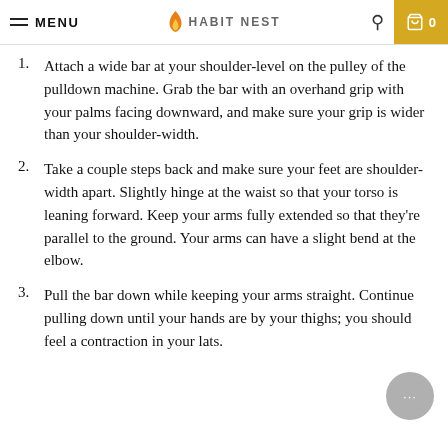MENU | HABIT NEST | 0
Attach a wide bar at your shoulder-level on the pulley of the pulldown machine. Grab the bar with an overhand grip with your palms facing downward, and make sure your grip is wider than your shoulder-width.
Take a couple steps back and make sure your feet are shoulder-width apart. Slightly hinge at the waist so that your torso is leaning forward. Keep your arms fully extended so that they're parallel to the ground. Your arms can have a slight bend at the elbow.
Pull the bar down while keeping your arms straight. Continue pulling down until your hands are by your thighs; you should feel a contraction in your lats.